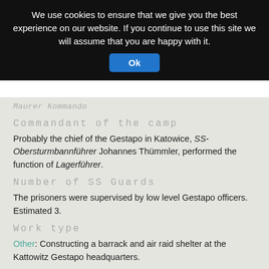[Figure (screenshot): Cookie consent banner overlay with black background, white text reading 'We use cookies to ensure that we give you the best experience on our website. If you continue to use this site we will assume that you are happy with it.' and a blue 'Ok' button.]
Maurer Kommando
Commandant of the camp
Probably the chief of the Gestapo in Katowice, SS-Obersturmbannführer Johannes Thümmler, performed the function of Lagerführer.
Number of SS Guards
The prisoners were supervised by low level Gestapo officers. Estimated 3.
Work type
Other: Constructing a barrack and air raid shelter at the Kattowitz Gestapo headquarters.